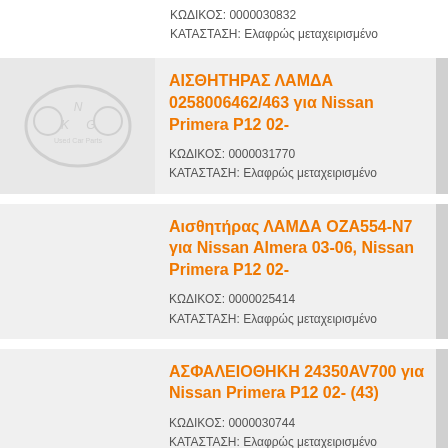ΚΩΔΙΚΟΣ: 0000030832
ΚΑΤΑΣΤΑΣΗ: Ελαφρώς μεταχειρισμένο
ΑΙΣΘΗΤΗΡΑΣ ΛΑΜΔΑ 0258006462/463 για Nissan Primera P12 02-
ΚΩΔΙΚΟΣ: 0000031770
ΚΑΤΑΣΤΑΣΗ: Ελαφρώς μεταχειρισμένο
Αισθητήρας ΛΑΜΔΑ OZA554-N7 για Nissan Almera 03-06, Nissan Primera P12 02-
ΚΩΔΙΚΟΣ: 0000025414
ΚΑΤΑΣΤΑΣΗ: Ελαφρώς μεταχειρισμένο
ΑΣΦΑΛΕΙΟΘΗΚΗ 24350AV700 για Nissan Primera P12 02- (43)
ΚΩΔΙΚΟΣ: 0000030744
ΚΑΤΑΣΤΑΣΗ: Ελαφρώς μεταχειρισμένο